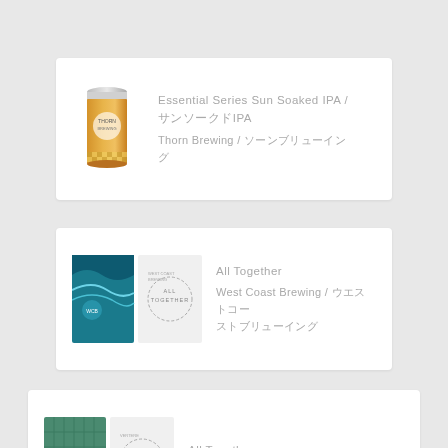[Figure (illustration): Orange beer can with Thorn Brewing label]
Essential Series Sun Soaked IPA / サンソークドIPA
Thorn Brewing / ソーンブリューイング
[Figure (illustration): Two-pack: teal wave art can and All Together can, West Coast Brewing]
All Together
West Coast Brewing / ウエストコーストブリューイング
[Figure (illustration): Two-pack: teal/green can and All Together can, VERTERE]
All Together
VERTERE / バテレ